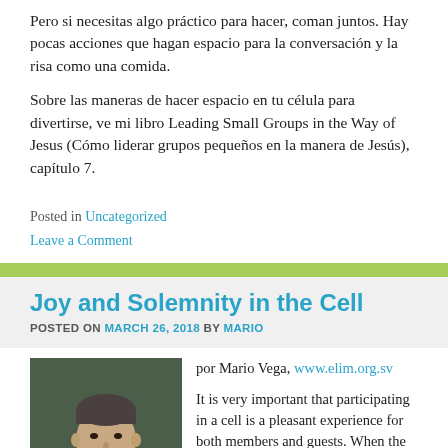Pero si necesitas algo práctico para hacer, coman juntos. Hay pocas acciones que hagan espacio para la conversación y la risa como una comida.
Sobre las maneras de hacer espacio en tu célula para divertirse, ve mi libro Leading Small Groups in the Way of Jesus (Cómo liderar grupos pequeños en la manera de Jesús), capítulo 7.
Posted in Uncategorized
Leave a Comment
Joy and Solemnity in the Cell
POSTED ON MARCH 26, 2018 BY MARIO
[Figure (photo): Portrait photo of Mario Vega, a man speaking at a microphone against a dark background]
por Mario Vega, www.elim.org.sv
It is very important that participating in a cell is a pleasant experience for both members and guests. When the